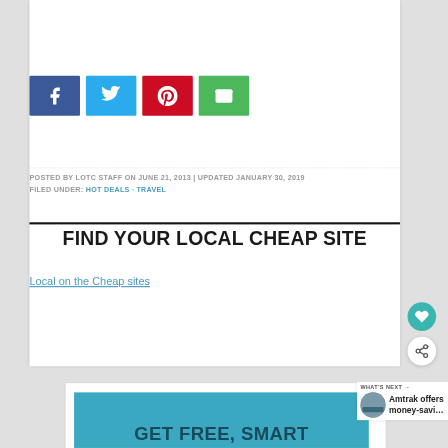[Figure (other): Social sharing buttons: Facebook (blue), Twitter (light blue), Pinterest (red), Email (green)]
POSTED BY LOTC STAFF ON JUNE 21, 2013 | UPDATED JANUARY 30, 2019
FILED UNDER: HOT DEALS · TRAVEL
FIND YOUR LOCAL CHEAP SITE
Local on the Cheap sites
WHAT'S NEXT → Amtrak offers money-savi…
GET FREE, SMART